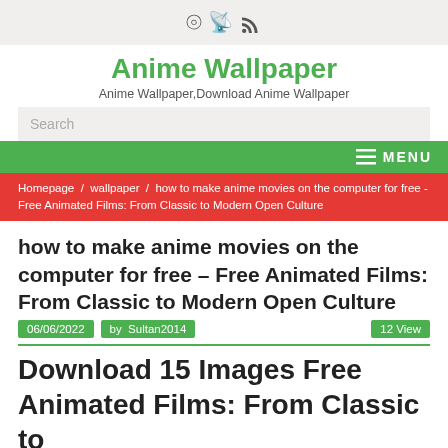RSS icon / site header bar
Anime Wallpaper
Anime Wallpaper,Download Anime Wallpaper
Search
MENU
Homepage / wallpaper / how to make anime movies on the computer for free - Free Animated Films: From Classic to Modern Open Culture
how to make anime movies on the computer for free – Free Animated Films: From Classic to Modern Open Culture
06/06/2022   by  Sultan2014   12 View
Download 15 Images Free Animated Films: From Classic to